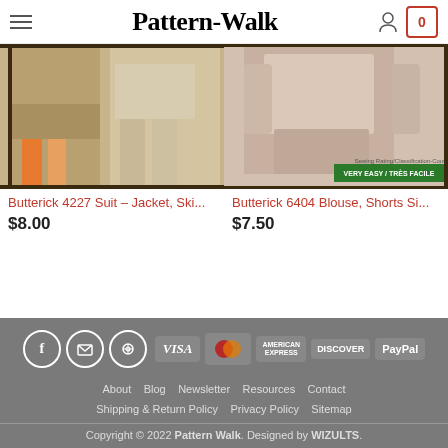Pattern-Walk
[Figure (photo): Butterick 4227 Suit pattern envelope showing jacket, skirt and pants illustration]
Butterick 4227 Suit – Jacket, Ski...
$8.00
[Figure (photo): Butterick 6404 Blouse, Shorts pattern envelope illustration]
Butterick 6404 Blouse, Shorts Si...
$7.50
About Blog Newsletter Resources Contact Shipping & Return Policy Privacy Policy Sitemap Copyright © 2022 Pattern Walk. Designed by WIZULTS.